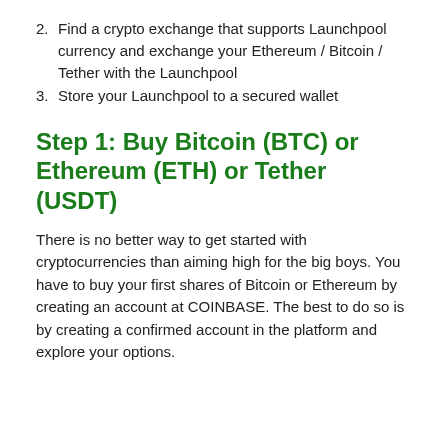2. Find a crypto exchange that supports Launchpool currency and exchange your Ethereum / Bitcoin / Tether with the Launchpool
3. Store your Launchpool to a secured wallet
Step 1: Buy Bitcoin (BTC) or Ethereum (ETH) or Tether (USDT)
There is no better way to get started with cryptocurrencies than aiming high for the big boys. You have to buy your first shares of Bitcoin or Ethereum by creating an account at COINBASE. The best to do so is by creating a confirmed account in the platform and explore your options.